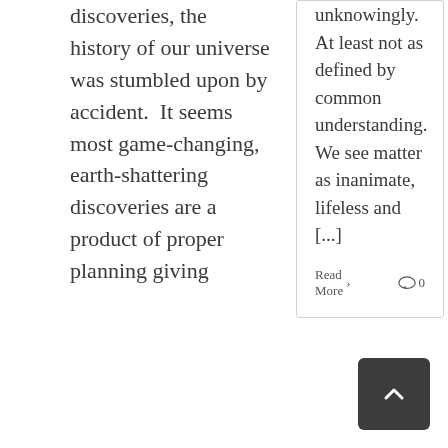discoveries, the history of our universe was stumbled upon by accident.  It seems most game-changing, earth-shattering discoveries are a product of proper planning giving
unknowingly. At least not as defined by common understanding.  We see matter as inanimate, lifeless and [...]
Read More ›
0